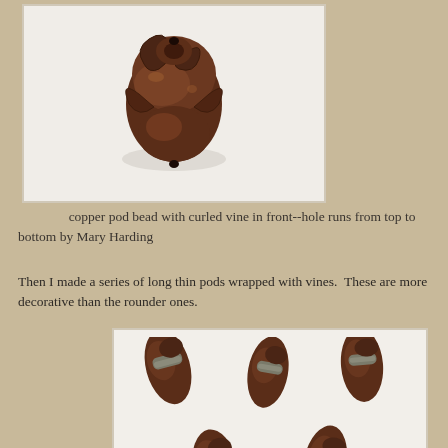[Figure (photo): Photograph of a copper pod bead with curled vine decoration, viewed from the front, showing dark copper metalwork with wrapped vine elements. The bead sits on a white background.]
copper pod bead with curled vine in front--hole runs from top to bottom by Mary Harding
Then I made a series of long thin pods wrapped with vines. These are more decorative than the rounder ones.
[Figure (photo): Photograph of five copper pod beads wrapped with wire/vines, arranged in two rows (three on top, two on bottom) on a white background. The beads are elongated and dark copper-colored with silver/gray wire wrapping around the middle.]